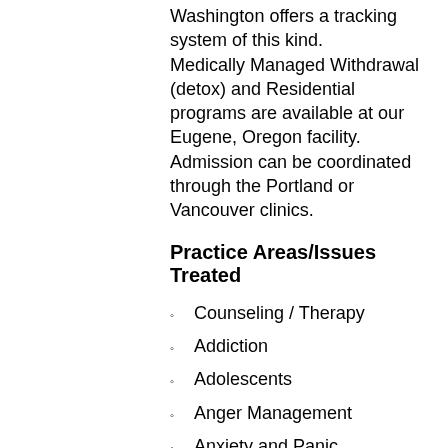Washington offers a tracking system of this kind. Medically Managed Withdrawal (detox) and Residential programs are available at our Eugene, Oregon facility. Admission can be coordinated through the Portland or Vancouver clinics.
Practice Areas/Issues Treated
Counseling / Therapy
Addiction
Adolescents
Anger Management
Anxiety and Panic
Attention Deficit Disorder (ADD)
Body Image Issues
Caregiver Issues
Children's Counseling